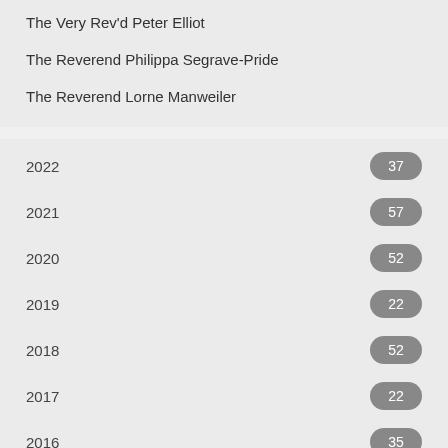The Very Rev'd Peter Elliot
The Reverend Philippa Segrave-Pride
The Reverend Lorne Manweiler
2022  37
2021  57
2020  52
2019  22
2018  52
2017  22
2016  35